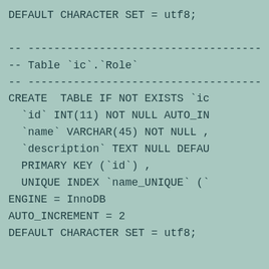DEFAULT CHARACTER SET = utf8;

-- ------------------------------------
-- Table `ic`.`Role`
-- ------------------------------------
CREATE  TABLE IF NOT EXISTS `ic
  `id` INT(11) NOT NULL AUTO_IN
  `name` VARCHAR(45) NOT NULL ,
  `description` TEXT NULL DEFAU
  PRIMARY KEY (`id`) ,
  UNIQUE INDEX `name_UNIQUE` (`
ENGINE = InnoDB
AUTO_INCREMENT = 2
DEFAULT CHARACTER SET = utf8;